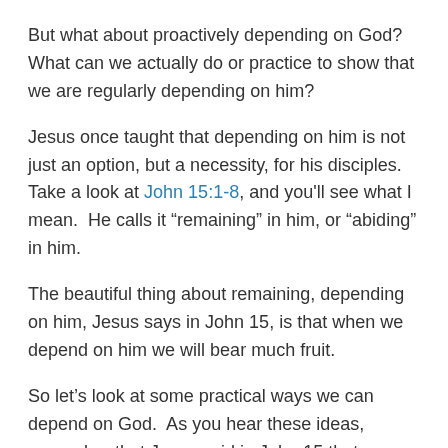But what about proactively depending on God?  What can we actually do or practice to show that we are regularly depending on him?
Jesus once taught that depending on him is not just an option, but a necessity, for his disciples.  Take a look at John 15:1-8, and you'll see what I mean.  He calls it “remaining” in him, or “abiding” in him.
The beautiful thing about remaining, depending on him, Jesus says in John 15, is that when we depend on him we will bear much fruit.
So let’s look at some practical ways we can depend on God.  As you hear these ideas, remember that Jesus said in John 15 that we have to choose to depend on him or we will not have his power flowing through us.